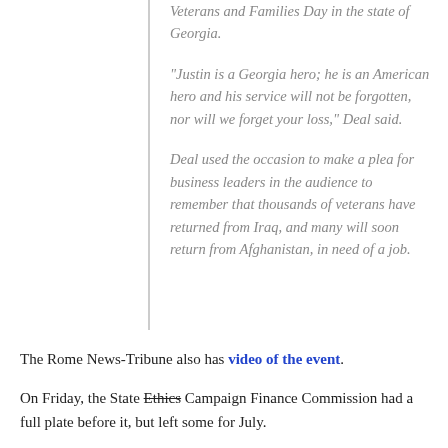Veterans and Families Day in the state of Georgia.
"Justin is a Georgia hero; he is an American hero and his service will not be forgotten, nor will we forget your loss," Deal said.
Deal used the occasion to make a plea for business leaders in the audience to remember that thousands of veterans have returned from Iraq, and many will soon return from Afghanistan, in need of a job.
The Rome News-Tribune also has video of the event.
On Friday, the State Ethics Campaign Finance Commission had a full plate before it, but left some for July.
dismissed the complaint against former Democratic Governor Roy Barnes.